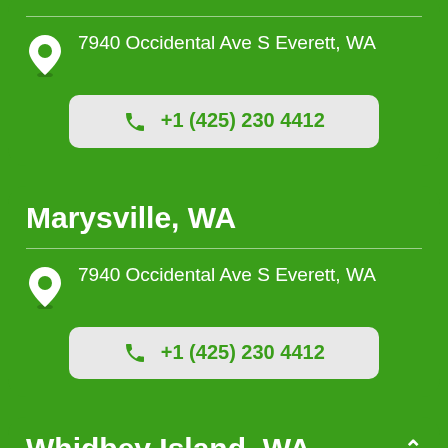7940 Occidental Ave S Everett, WA
+1 (425) 230 4412
Marysville, WA
7940 Occidental Ave S Everett, WA
+1 (425) 230 4412
Whidbey Island, WA